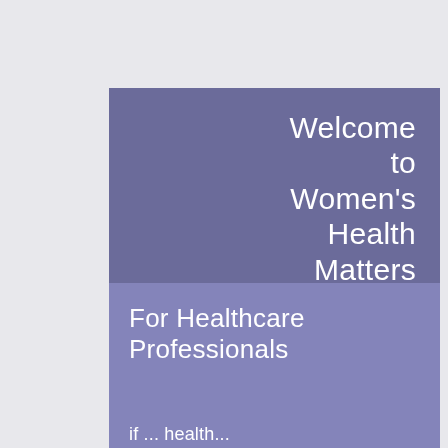Welcome to Women's Health Matters
For Healthcare Professionals
if ... health...